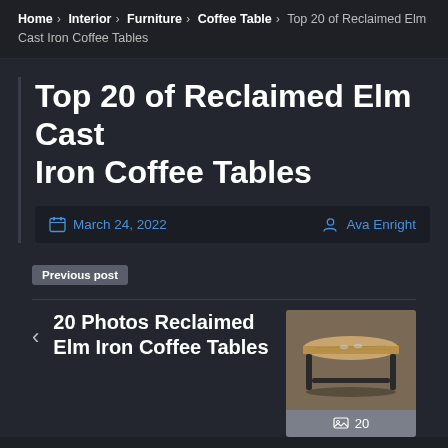Home › Interior › Furniture › Coffee Table › Top 20 of Reclaimed Elm Cast Iron Coffee Tables
Top 20 of Reclaimed Elm Cast Iron Coffee Tables
March 24, 2022   Ava Enright
Previous post
20 Photos Reclaimed Elm Iron Coffee Tables
[Figure (photo): A reclaimed elm wood coffee table with black cast iron legs, rendered in 3D on a neutral background.]
20